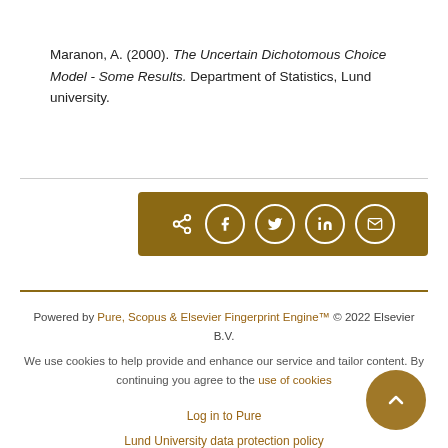Maranon, A. (2000). The Uncertain Dichotomous Choice Model - Some Results. Department of Statistics, Lund university.
[Figure (other): Social media share bar with icons for share, Facebook, Twitter, LinkedIn, and email on a dark gold background]
Powered by Pure, Scopus & Elsevier Fingerprint Engine™ © 2022 Elsevier B.V.
We use cookies to help provide and enhance our service and tailor content. By continuing you agree to the use of cookies
Log in to Pure
Lund University data protection policy
About web accessibility